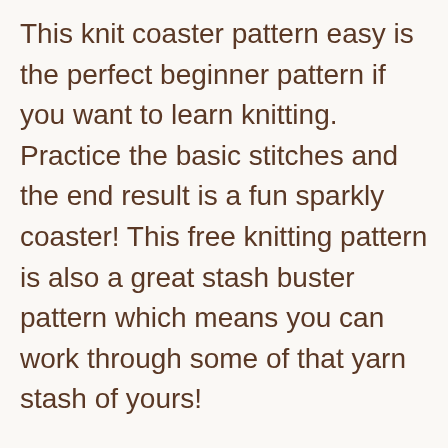This knit coaster pattern easy is the perfect beginner pattern if you want to learn knitting. Practice the basic stitches and the end result is a fun sparkly coaster! This free knitting pattern is also a great stash buster pattern which means you can work through some of that yarn stash of yours!
I'm featured in the Design Create Repeat blog hop, starting on Wednesday May 13th at 9:00 PM EST until Friday May 15th at 11 AM EST go